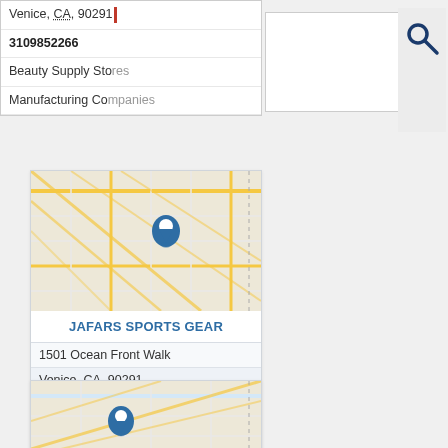[Figure (screenshot): Autocomplete dropdown showing: Venice, CA, 90291 / 3109852266 (bold) / Beauty Supply Stores / Manufacturing Companies]
[Figure (screenshot): Search input text box with search icon (magnifying glass) on the right]
[Figure (map): Street map with blue location pin marker for Jafars Sports Gear in Venice CA area]
JAFARS SPORTS GEAR
1501 Ocean Front Walk
Venice, CA, 90291
3104504604
A4 Sports Jerseys
Hunting Supplies
Soccer Stores
Sporting Goods Stores
Sports Apparel
[Figure (map): Street map with blue location pin marker for the second listing]